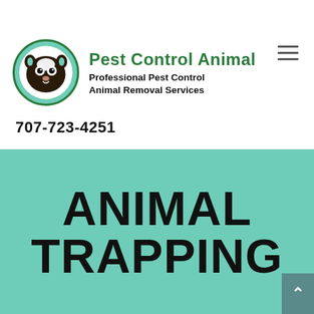[Figure (logo): Circular logo with raccoon/skunk face illustration, green border]
Pest Control Animal
Professional Pest Control Animal Removal Services
707-723-4251
ANIMAL TRAPPING